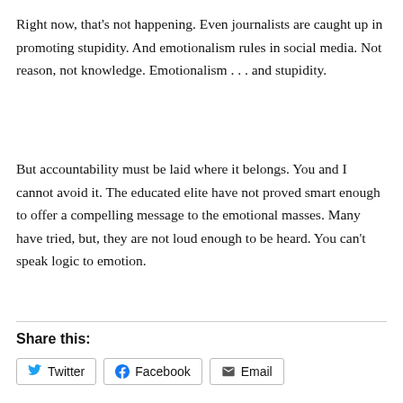Right now, that's not happening. Even journalists are caught up in promoting stupidity. And emotionalism rules in social media. Not reason, not knowledge. Emotionalism . . . and stupidity.
But accountability must be laid where it belongs. You and I cannot avoid it. The educated elite have not proved smart enough to offer a compelling message to the emotional masses. Many have tried, but, they are not loud enough to be heard. You can't speak logic to emotion.
Share this: